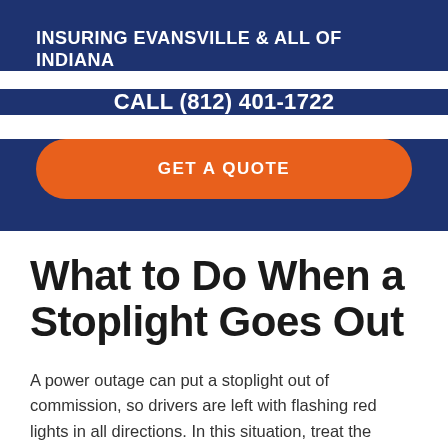INSURING EVANSVILLE & ALL OF INDIANA
CALL (812) 401-1722
GET A QUOTE
What to Do When a Stoplight Goes Out
A power outage can put a stoplight out of commission, so drivers are left with flashing red lights in all directions. In this situation, treat the stoplight